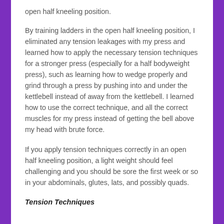open half kneeling position.
By training ladders in the open half kneeling position, I eliminated any tension leakages with my press and learned how to apply the necessary tension techniques for a stronger press (especially for a half bodyweight press), such as learning how to wedge properly and grind through a press by pushing into and under the kettlebell instead of away from the kettlebell. I learned how to use the correct technique, and all the correct muscles for my press instead of getting the bell above my head with brute force.
If you apply tension techniques correctly in an open half kneeling position, a light weight should feel challenging and you should be sore the first week or so in your abdominals, glutes, lats, and possibly quads.
Tension Techniques